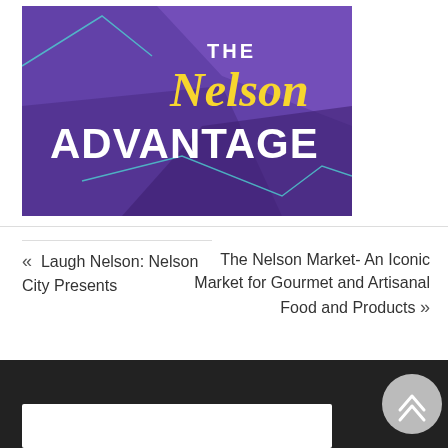[Figure (logo): The Nelson Advantage logo on purple background with geometric shapes and teal accent lines. Text reads 'THE Nelson ADVANTAGE' in white and yellow script.]
« Laugh Nelson: Nelson City Presents
The Nelson Market- An Iconic Market for Gourmet and Artisanal Food and Products »
[Figure (other): Dark footer bar with back-to-top chevron button and white content box at bottom left]